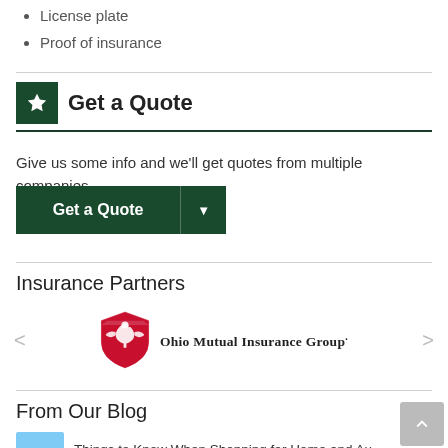License plate
Proof of insurance
Get a Quote
Give us some info and we'll get quotes from multiple companies.
[Figure (other): Green 'Get a Quote' button with dropdown arrow]
Insurance Partners
[Figure (logo): Ohio Mutual Insurance Group logo — red shield with eagle and company name]
From Our Blog
[Figure (other): Back to top button (grey square with upward chevron)]
Things to Know When Shopping for Home and Auto...